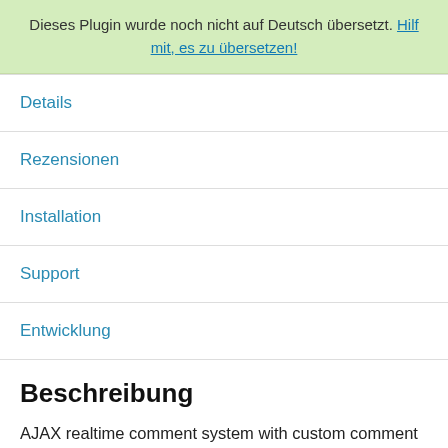Dieses Plugin wurde noch nicht auf Deutsch übersetzt. Hilf mit, es zu übersetzen!
Details
Rezensionen
Installation
Support
Entwicklung
Beschreibung
AJAX realtime comment system with custom comment form and fields. Designed to supercharge WordPress native comments. Super fast and responsive with dozens of features. This is the best